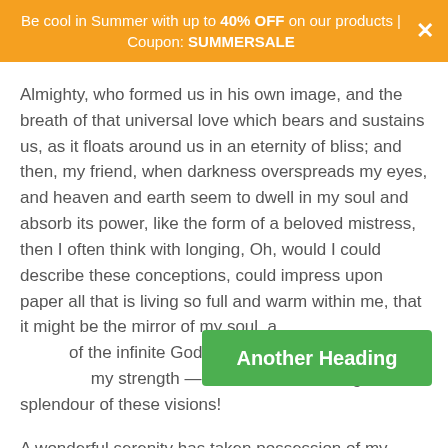Be cool in Summer with up to 40% OFF on our products | Coupon: SUMMERSALE
Almighty, who formed us in his own image, and the breath of that universal love which bears and sustains us, as it floats around us in an eternity of bliss; and then, my friend, when darkness overspreads my eyes, and heaven and earth seem to dwell in my soul and absorb its power, like the form of a beloved mistress, then I often think with longing, Oh, would I could describe these conceptions, could impress upon paper all that is living so full and warm within me, that it might be the mirror of my soul, as my soul is the mirror of the infinite God! O my friend — but it is too much for my strength — I sink under the weight of the splendour of these visions!
[Figure (other): Green button labeled 'Another Heading']
A wonderful serenity has taken possession of my entire soul, like these sweet mornings of spring which I